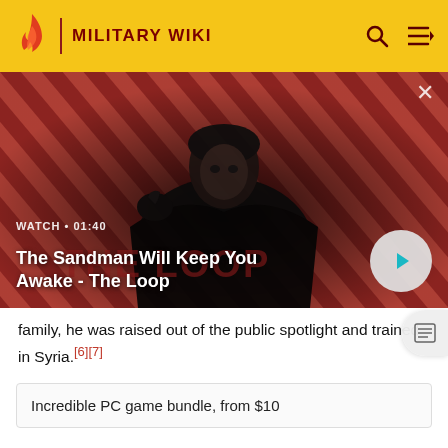MILITARY WIKI
[Figure (screenshot): Video thumbnail for 'The Sandman Will Keep You Awake - The Loop' with a dark-cloaked figure and a raven on a red diagonal-stripe background. Shows WATCH • 01:40 label and a play button.]
family, he was raised out of the public spotlight and trained in Syria.[6][7]
Incredible PC game bundle, from $10